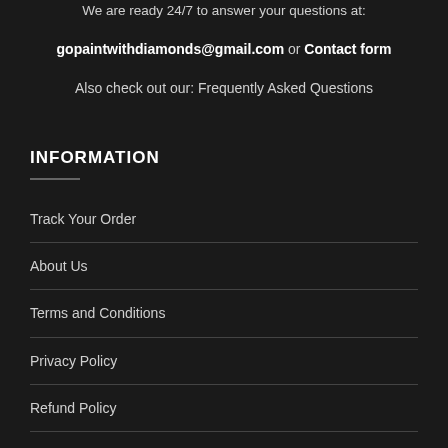We are ready 24/7 to answer your questions at:
gopaintwithdiamonds@gmail.com or Contact form
Also check out our: Frequently Asked Questions
INFORMATION
Track Your Order
About Us
Terms and Conditions
Privacy Policy
Refund Policy
Copyright Infringement